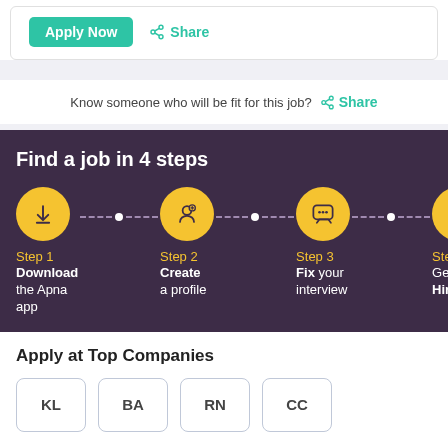Apply Now | Share
Know someone who will be fit for this job? Share
[Figure (infographic): Find a job in 4 steps infographic with dark purple background. Step 1: Download the Apna app, Step 2: Create a profile, Step 3: Fix your interview, Step 4: Get Hired. Each step shown with a yellow circle icon connected by dashed lines.]
Apply at Top Companies
[Figure (logo): Four company logo badges: KL, BA, RN, CC]